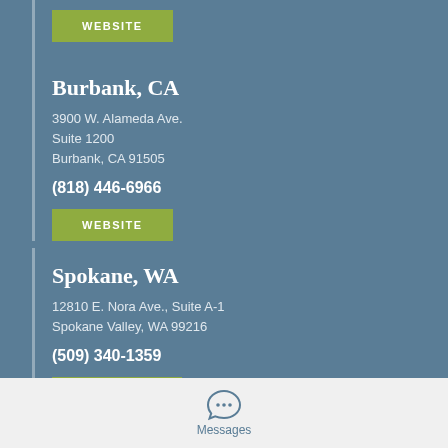WEBSITE
Burbank, CA
3900 W. Alameda Ave.
Suite 1200
Burbank, CA 91505
(818) 446-6966
WEBSITE
Spokane, WA
12810 E. Nora Ave., Suite A-1
Spokane Valley, WA 99216
(509) 340-1359
[Figure (illustration): Partial green WEBSITE button at bottom of page]
[Figure (illustration): Messages icon - speech bubble with three dots]
Messages